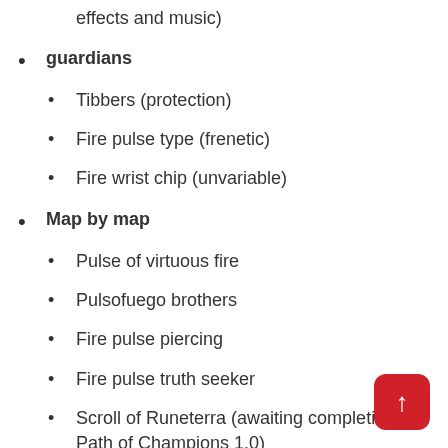effects and music)
guardians
Tibbers (protection)
Fire pulse type (frenetic)
Fire wrist chip (unvariable)
Map by map
Pulse of virtuous fire
Pulsofuego brothers
Fire pulse piercing
Fire pulse truth seeker
Scroll of Runeterra (awaiting completion of Path of Champions 1.0)
Runaterra's plaque (thanks to those who did Gangplank in Path of Champions 1.0)